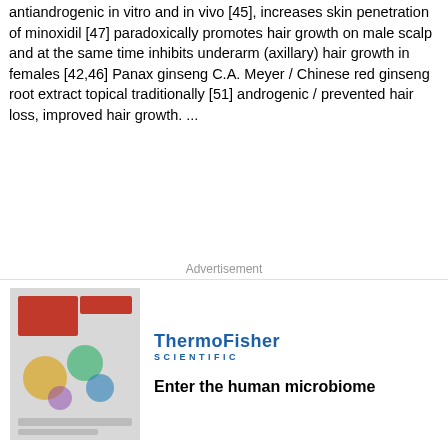antiandrogenic in vitro and in vivo [45], increases skin penetration of minoxidil [47] paradoxically promotes hair growth on male scalp and at the same time inhibits underarm (axillary) hair growth in females [42,46] Panax ginseng C.A. Meyer / Chinese red ginseng root extract topical traditionally [51] androgenic / prevented hair loss, improved hair growth. ...
... topical [32] Clinical and in vitro study androgenic in vivo 4 successive days EGCG stimulated hair growth / EGCG stimulates hair growth via its proliferative and antiapoptotic effects on DPCs, and may prolong the anagen stage [32], selective inhibition of 5α-reductase [31], antioxidant properties [29], and the stimulating effect on normal cell growth [ [41] androgenic 6 months stimulated hair growth, slowed down hair loss itching (in 1 out of 98 subjects) inhibition of 5α-reductase, germacrone acting anti-inflammatory [44] and
[Figure (other): ThermoFisher Scientific advertisement banner with logo and tagline 'Enter the human microbiome', with a thumbnail image on the left side]